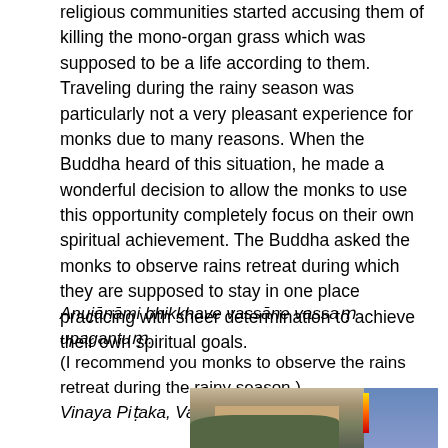religious communities started accusing them of killing the mono-organ grass which was supposed to be a life according to them. Traveling during the rainy season was particularly not a very pleasant experience for monks due to many reasons. When the Buddha heard of this situation, he made a wonderful decision to allow the monks to use this opportunity completely focus on their own spiritual achievement. The Buddha asked the monks to observe rains retreat during which they are supposed to stay in one place practicing with sheer determination to achieve their own spiritual goals.
Anujānāmi bhikkhave vassāne vassaṃ upagantuṃ. (I recommend you monks to observe the rains retreat during the rainy season.) – Vinaya Piṭaka, Vassūpanāyikakkhandha
[Figure (photo): Outdoor photograph showing a building with trees and flags in the background]